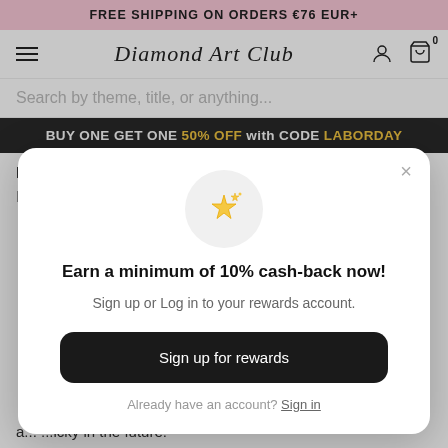FREE SHIPPING ON ORDERS €76 EUR+
[Figure (screenshot): Diamond Art Club navigation bar with hamburger menu, brand logo in script font, user account icon, and cart icon showing 0 items]
Search by theme, title, or anything...
BUY ONE GET ONE 50% OFF with CODE LABORDAY
like tweezers and even trays, it's easy for these items to
[Figure (infographic): Popup modal with sparkle star icon, text 'Earn a minimum of 10% cash-back now!', subtitle 'Sign up or Log in to your rewards account.', a black 'Sign up for rewards' button, and a 'Already have an account? Sign in' link]
already in the future.